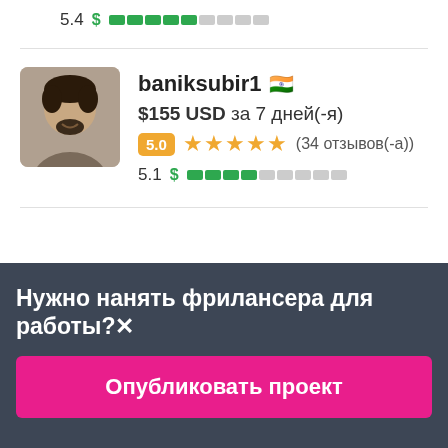5.4  $ [bar indicator]
baniksubir1 🇮🇳
$155 USD за 7 дней(-я)
5.0 ★★★★★ (34 отзывов(-а))
5.1  $ [bar indicator]
Нужно нанять фрилансера для работы?✕
Опубликовать проект